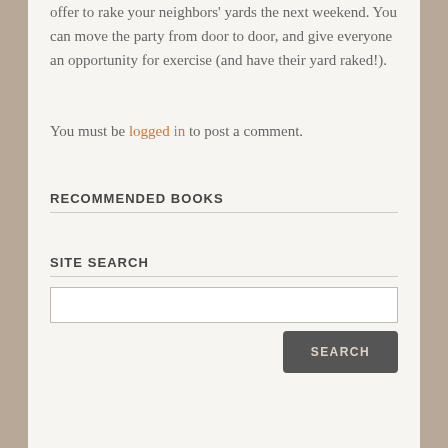offer to rake your neighbors' yards the next weekend. You can move the party from door to door, and give everyone an opportunity for exercise (and have their yard raked!).
You must be logged in to post a comment.
RECOMMENDED BOOKS
SITE SEARCH